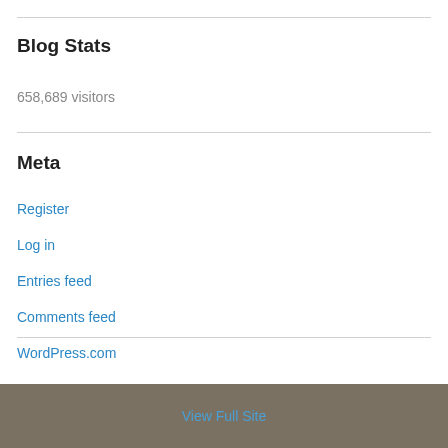Blog Stats
658,689 visitors
Meta
Register
Log in
Entries feed
Comments feed
WordPress.com
View Full Site